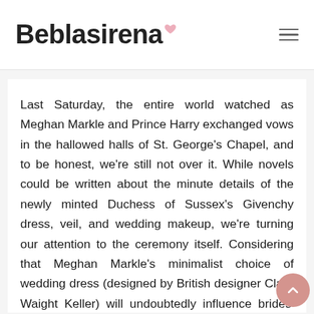Beblasirena
Last Saturday, the entire world watched as Meghan Markle and Prince Harry exchanged vows in the hallowed halls of St. George's Chapel, and to be honest, we're still not over it. While novels could be written about the minute details of the newly minted Duchess of Sussex's Givenchy dress, veil, and wedding makeup, we're turning our attention to the ceremony itself. Considering that Meghan Markle's minimalist choice of wedding dress (designed by British designer Clare Waight Keller) will undoubtedly influence brides' dress selection for years to come, the same can be said for the couples'